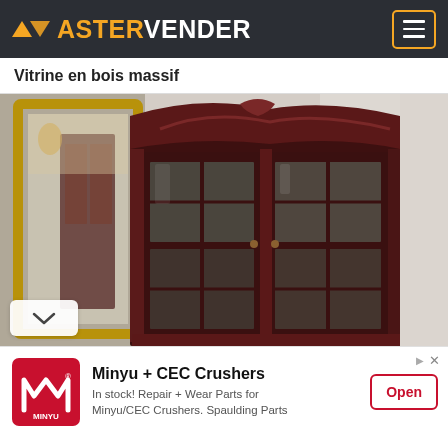ASTERVENDER
Vitrine en bois massif
[Figure (photo): A dark mahogany wood glass-door display cabinet (vitrine) with ornate carved top, glass panels divided by wooden mullions, photographed in a room with a gold-framed mirror on the left and a white wall on the right.]
Minyu + CEC Crushers
In stock! Repair + Wear Parts for Minyu/CEC Crushers. Spaulding Parts